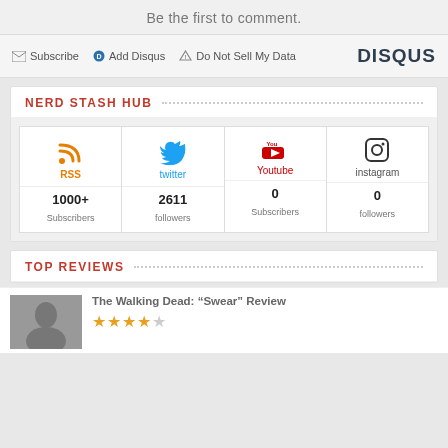Be the first to comment.
Subscribe  Add Disqus  Do Not Sell My Data  DISQUS
NERD STASH HUB
[Figure (infographic): Social media hub grid showing RSS (1000+ Subscribers), twitter (2611 followers), Youtube (0 Subscribers), instagram (0 followers)]
TOP REVIEWS
The Walking Dead: “Swear” Review
[Figure (other): Star rating showing approximately 3.5 out of 5 stars]